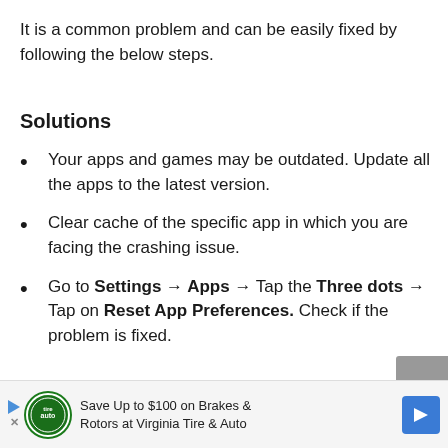It is a common problem and can be easily fixed by following the below steps.
Solutions
Your apps and games may be outdated. Update all the apps to the latest version.
Clear cache of the specific app in which you are facing the crashing issue.
Go to Settings → Apps → Tap the Three dots → Tap on Reset App Preferences. Check if the problem is fixed.
[Figure (other): Advertisement banner: Save Up to $100 on Brakes & Rotors at Virginia Tire & Auto]